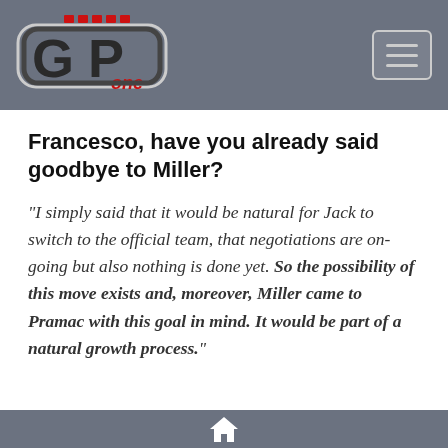GP One (logo)
Francesco, have you already said goodbye to Miller?
"I simply said that it would be natural for Jack to switch to the official team, that negotiations are on-going but also nothing is done yet. So the possibility of this move exists and, moreover, Miller came to Pramac with this goal in mind. It would be part of a natural growth process."
Home